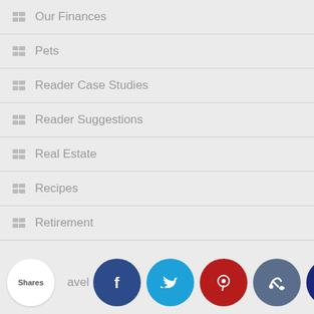Our Finances
Pets
Reader Case Studies
Reader Suggestions
Real Estate
Recipes
Retirement
Smart Buys
This Month On The Homestead
[Figure (infographic): Social sharing bar with Shares bubble and social media icons: Facebook (dark blue), Twitter (cyan), Pinterest (red), Thumbs up (slate blue), Crown (dark navy). Partial text 'avel' visible.]